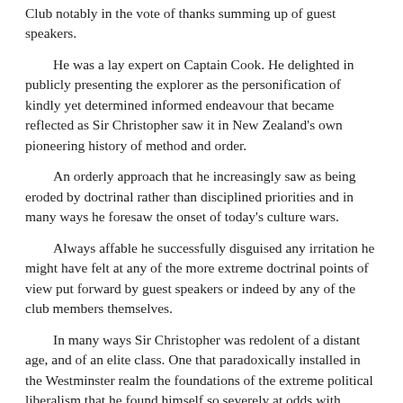Club notably in the vote of thanks summing up of guest speakers.
He was a lay expert on Captain Cook. He delighted in publicly presenting the explorer as the personification of kindly yet determined informed endeavour that became reflected as Sir Christopher saw it in New Zealand's own pioneering history of method and order.
An orderly approach that he increasingly saw as being eroded by doctrinal rather than disciplined priorities and in many ways he foresaw the onset of today's culture wars.
Always affable he successfully disguised any irritation he might have felt at any of the more extreme doctrinal points of view put forward by guest speakers or indeed by any of the club members themselves.
In many ways Sir Christopher was redolent of a distant age, and of an elite class. One that paradoxically installed in the Westminster realm the foundations of the extreme political liberalism that he found himself so severely at odds with.
The baronetcy had been established by his grandfather Sir Percy Harris a British House of Commons Liberal MP who did much to introduce the welfare reforms of